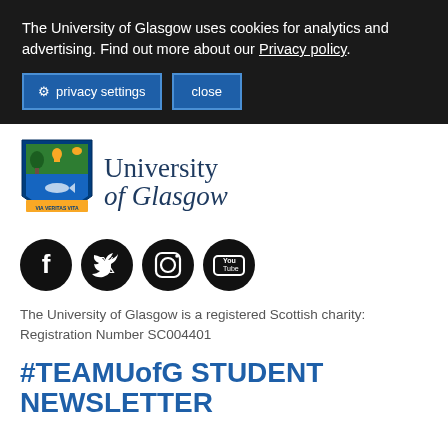The University of Glasgow uses cookies for analytics and advertising. Find out more about our Privacy policy.
privacy settings   close
[Figure (logo): University of Glasgow shield crest logo with Latin motto VIA VERITAS VITA and text 'University of Glasgow']
[Figure (infographic): Social media icons: Facebook, Twitter, Instagram, YouTube]
The University of Glasgow is a registered Scottish charity: Registration Number SC004401
#TEAMUofG STUDENT NEWSLETTER